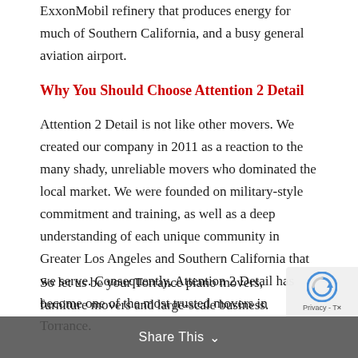ExxonMobil refinery that produces energy for much of Southern California, and a busy general aviation airport.
Why You Should Choose Attention 2 Detail
Attention 2 Detail is not like other movers. We created our company in 2011 as a reaction to the many shady, unreliable movers who dominated the local market. We were founded on military-style commitment and training, as well as a deep understanding of each unique community in Greater Los Angeles and Southern California that we serve. Consequently, Attention 2 Detail has become one of the most trusted movers in Torrance.
So let us be your Torrance piano movers, furniture movers and large-scale business.
Share This